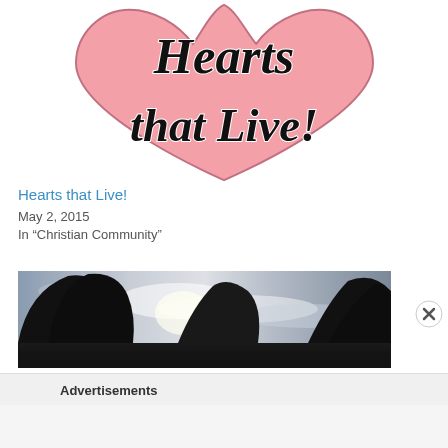[Figure (illustration): Pink heart shape with cursive black text reading 'Hearts that Live!' partially cropped at top]
Hearts that Live!
May 2, 2015
In “Christian Community”
[Figure (photo): Outdoor twilight/dusk photo with dark tree silhouettes against a light cloudy sky]
Advertisements